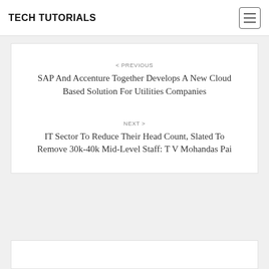TECH TUTORIALS
< PREVIOUS
SAP And Accenture Together Develops A New Cloud Based Solution For Utilities Companies
NEXT >
IT Sector To Reduce Their Head Count, Slated To Remove 30k-40k Mid-Level Staff: T V Mohandas Pai